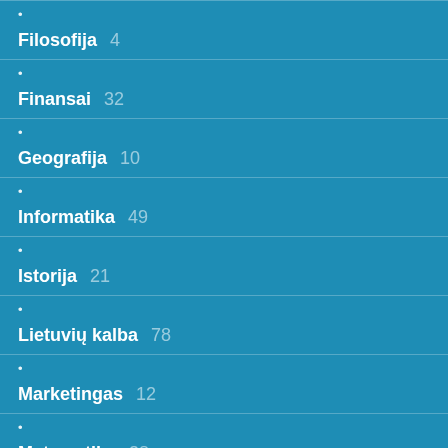• Filosofija 4
• Finansai 32
• Geografija 10
• Informatika 49
• Istorija 21
• Lietuvių kalba 78
• Marketingas 12
• Matematika 38